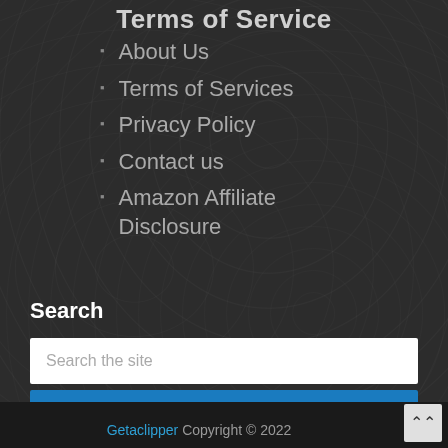Terms of Service
About Us
Terms of Services
Privacy Policy
Contact us
Amazon Affiliate Disclosure
Search
Search the site
Search
Getaclipper Copyright © 2022